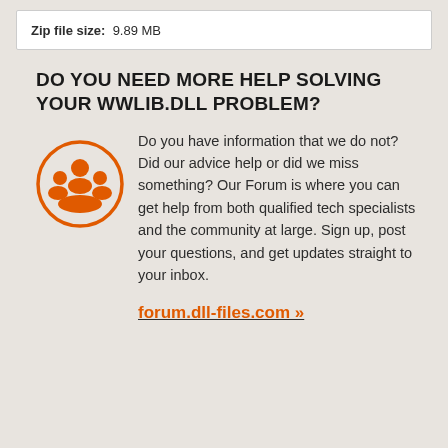Zip file size:  9.89 MB
DO YOU NEED MORE HELP SOLVING YOUR WWLIB.DLL PROBLEM?
[Figure (illustration): Orange icon showing a group of people (community/forum symbol) inside a circle with an orange border]
Do you have information that we do not? Did our advice help or did we miss something? Our Forum is where you can get help from both qualified tech specialists and the community at large. Sign up, post your questions, and get updates straight to your inbox.
forum.dll-files.com »